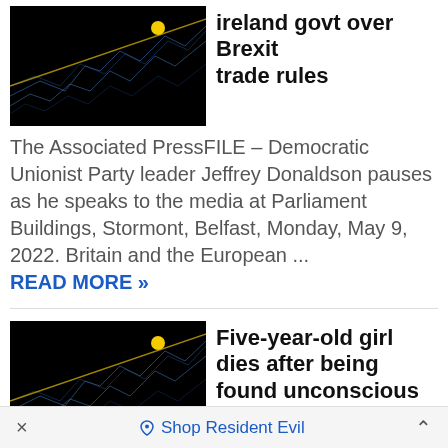[Figure (photo): Dark thumbnail image with abstract blue light trails and a yellow dot — placeholder/generic news image]
ireland govt over Brexit trade rules
The Associated PressFILE – Democratic Unionist Party leader Jeffrey Donaldson pauses as he speaks to the media at Parliament Buildings, Stormont, Belfast, Monday, May 9, 2022. Britain and the European ... READ MORE »
[Figure (photo): Dark thumbnail image with abstract blue light trails and a yellow dot — placeholder/generic news image]
Five-year-old girl dies after being found unconscious in the sea in Stavanger
The five-year-old girl who was found lifeless in the sea in Stavanger on Thursday night was declared dead at the hospital on Friday. The police do not
× 🔷 Shop Resident Evil ^